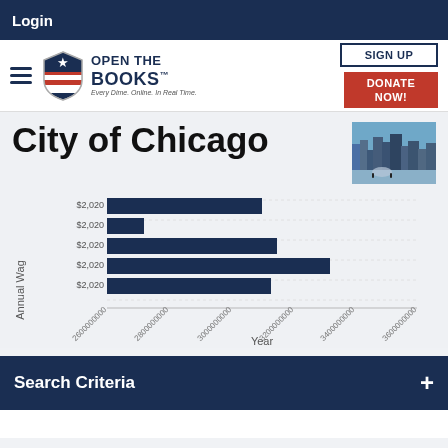Login
[Figure (logo): Open The Books logo with shield icon and tagline 'Every Dime. Online. In Real Time.']
City of Chicago
[Figure (photo): Chicago cityscape photo showing skyline and Cloud Gate (Bean) sculpture]
[Figure (bar-chart): Annual Wage vs Year]
Search Criteria